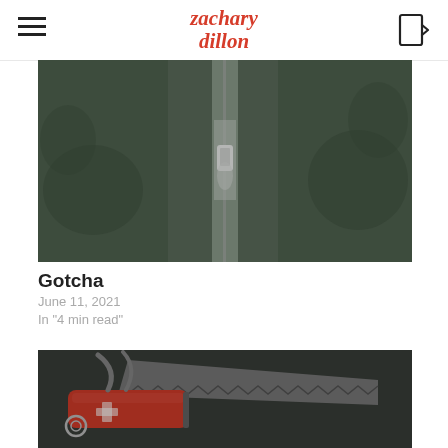zachary dillon
[Figure (photo): Aerial night view of a car driving on a narrow road through dark trees]
Gotcha
June 11, 2021
In "4 min read"
[Figure (photo): Close-up of a red Swiss army knife with blade and tools open against a dark background]